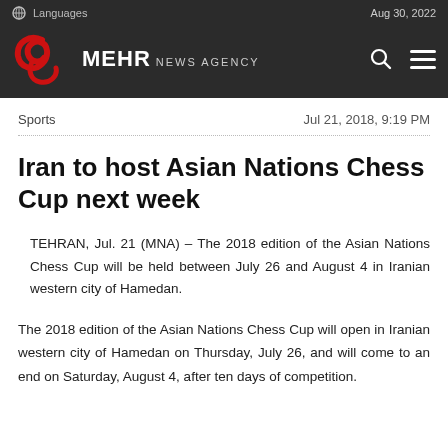Languages | Aug 30, 2022 | MEHR NEWS AGENCY
Sports | Jul 21, 2018, 9:19 PM
Iran to host Asian Nations Chess Cup next week
TEHRAN, Jul. 21 (MNA) – The 2018 edition of the Asian Nations Chess Cup will be held between July 26 and August 4 in Iranian western city of Hamedan.
The 2018 edition of the Asian Nations Chess Cup will open in Iranian western city of Hamedan on Thursday, July 26, and will come to an end on Saturday, August 4, after ten days of competition.